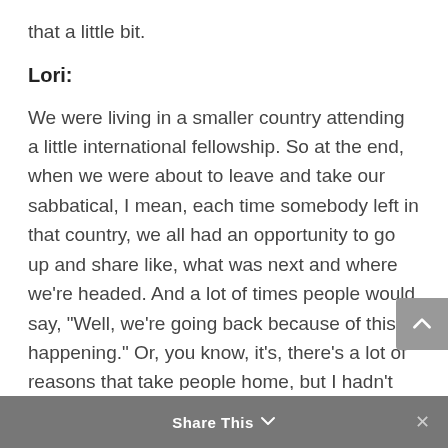that a little bit.
Lori:
We were living in a smaller country attending a little international fellowship. So at the end, when we were about to leave and take our sabbatical, I mean, each time somebody left in that country, we all had an opportunity to go up and share like, what was next and where we're headed. And a lot of times people would say, “Well, we’re going back because of this happening.” Or, you know, it’s, there’s a lot of reasons that take people home, but I hadn’t really ever heard someone stand up there and say, “We’re going to
Share This ✕